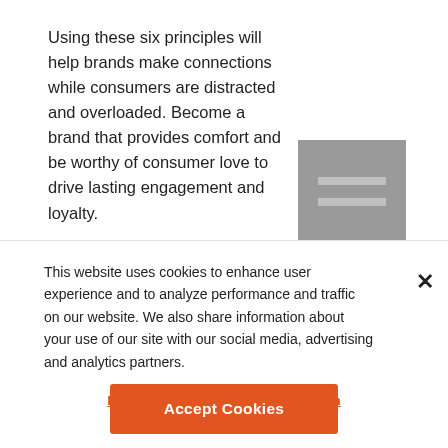Using these six principles will help brands make connections while consumers are distracted and overloaded. Become a brand that provides comfort and be worthy of consumer love to drive lasting engagement and loyalty.
[Figure (illustration): Gray square icon with two horizontal lighter gray bars, resembling a menu/hamburger icon or a simplified graphic element.]
Ryan Hedges is VP, Digital Experience, at The Marketing Store with over 16 years of experience
This website uses cookies to enhance user experience and to analyze performance and traffic on our website. We also share information about your use of our site with our social media, advertising and analytics partners.
Do Not Sell My Personal Information
Accept Cookies